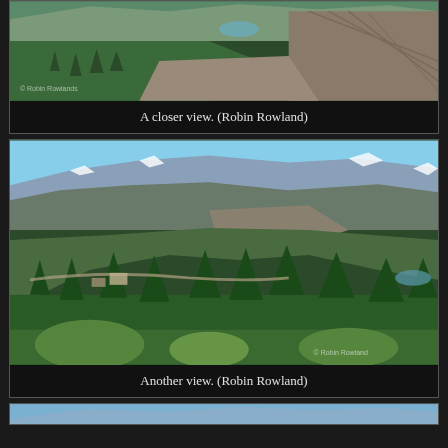[Figure (photo): A closer view of a mountainous landscape showing rocky slopes, green vegetation, and a small glacial lake in the background. Photo credit: Robin Rowland.]
A closer view. (Robin Rowland)
[Figure (photo): Another panoramic view of mountains with green forested slopes, conifer trees, a road or path visible in the middle distance, and blue mountain peaks in the background. Photo credit: Robin Rowland.]
Another view. (Robin Rowland)
[Figure (photo): Partial view of another landscape photograph at the bottom of the page.]